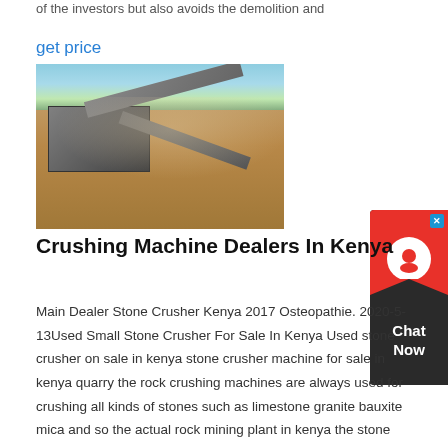of the investors but also avoids the demolition and
get price
[Figure (photo): Aerial/elevated view of an open-air stone crushing machine plant in Kenya, with conveyor belts, machinery, red soil ground, workers visible, and green trees in the background.]
Crushing Machine Dealers In Kenya
Main Dealer Stone Crusher Kenya 2017 Osteopathie. 2020-5-13Used Small Stone Crusher For Sale In Kenya Used stone crusher on sale in kenya stone crusher machine for sale in kenya quarry the rock crushing machines are always used for crushing all kinds of stones such as limestone granite bauxite mica and so the actual rock mining plant in kenya the stone crusher